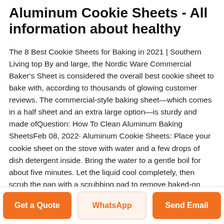Aluminum Cookie Sheets - All information about healthy
The 8 Best Cookie Sheets for Baking in 2021 | Southern Living top By and large, the Nordic Ware Commercial Baker's Sheet is considered the overall best cookie sheet to bake with, according to thousands of glowing customer reviews. The commercial-style baking sheet—which comes in a half sheet and an extra large option—is sturdy and made ofQuestion: How To Clean Aluminum Baking SheetsFeb 08, 2022· Aluminum Cookie Sheets: Place your cookie sheet on the stove with water and a few drops of dish detergent inside. Bring the water to a gentle boil for about five minutes. Let the liquid cool completely, then scrub the pan with a scrubbing pad to remove baked-on grease.Baking Sheets 101: The Difference Between CookieSep 05, 2019· Basic Aluminum Baking Pans and Cookie Sheets . Affordable,
Get a Quote
WhatsApp
Send Email